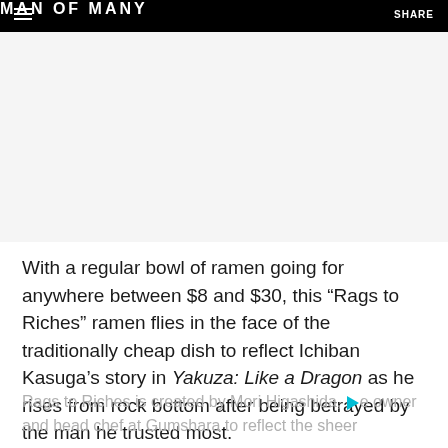MAN OF MANY
[Figure (photo): Image placeholder area (white/light gray) — article hero image not visible in this crop]
With a regular bowl of ramen going for anywhere between $8 and $30, this “Rags to Riches” ramen flies in the face of the traditionally cheap dish to reflect Ichiban Kasuga’s story in Yakuza: Like a Dragon as he rises from rock bottom after being betrayed by the man he trusted most.
Rags to Riches is created by Mori Higashida, the owner and head chef at Gumshara to reflect the sheer